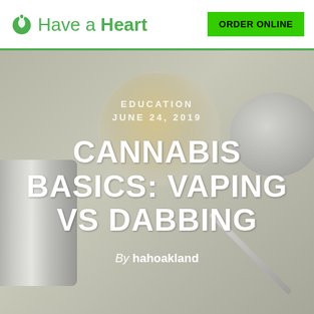Have a Heart | ORDER ONLINE
[Figure (photo): Background photo of cannabis concentrate tools: glass jar with golden wax/concentrate, metallic grinder cylinder, jar lid, and a dabber tool on a light gray surface]
EDUCATION
JUNE 24, 2019
CANNABIS BASICS: VAPING VS DABBING
By hahoakland